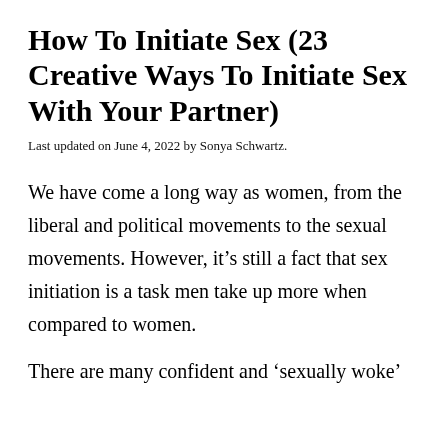How To Initiate Sex (23 Creative Ways To Initiate Sex With Your Partner)
Last updated on June 4, 2022 by Sonya Schwartz.
We have come a long way as women, from the liberal and political movements to the sexual movements. However, it’s still a fact that sex initiation is a task men take up more when compared to women.
There are many confident and ‘sexually woke’